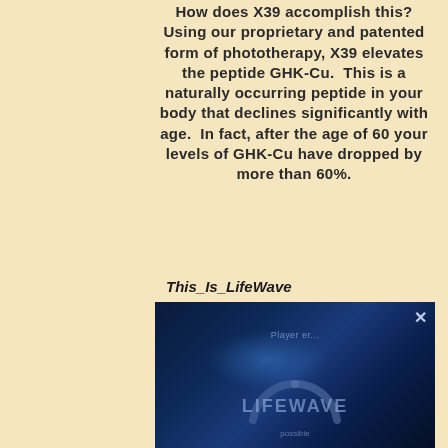How does X39 accomplish this? Using our proprietary and patented form of phototherapy, X39 elevates the peptide GHK-Cu.  This is a naturally occurring peptide in your body that declines significantly with age.  In fact, after the age of 60 your levels of GHK-Cu have dropped by more than 60%.
This_Is_LifeWave
[Figure (screenshot): A dark blue video thumbnail showing the LifeWave logo with an arc/ring graphic, a 'Player error' message, a close (X) button in the top right, and faint text 'possible' at the bottom.]